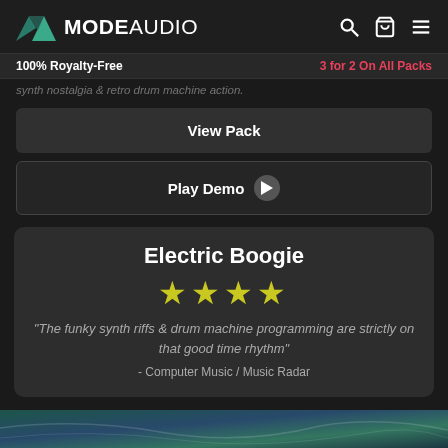MODE AUDIO
100% Royalty-Free   3 for 2 On All Packs
synth nostalgia & retro drum machine action.
View Pack
Play Demo
Electric Boogie
★★★★
"The funky synth riffs & drum machine programming are strictly on that good time rhythm"
- Computer Music / Music Radar
[Figure (photo): Partial bottom image strip showing teal/blue colored texture or artwork]